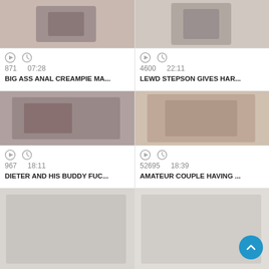[Figure (screenshot): Video thumbnail top-left]
[Figure (screenshot): Video thumbnail top-right]
871  07:28
BIG ASS ANAL CREAMPIE MA...
4600  22:11
LEWD STEPSON GIVES HAR...
[Figure (screenshot): Video thumbnail middle-left]
[Figure (screenshot): Video thumbnail middle-right]
967  18:11
DIETER AND HIS BUDDY FUC...
52695  18:39
AMATEUR COUPLE HAVING ...
[Figure (screenshot): Video thumbnail bottom-left (partial)]
[Figure (screenshot): Video thumbnail bottom-right (partial)]